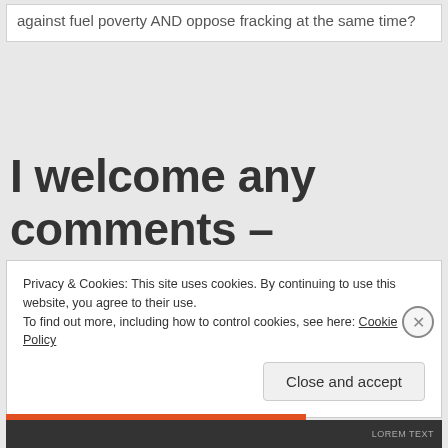against fuel poverty AND oppose fracking at the same time?
I welcome any comments – whether you agree with me or
Privacy & Cookies: This site uses cookies. By continuing to use this website, you agree to their use. To find out more, including how to control cookies, see here: Cookie Policy
Close and accept